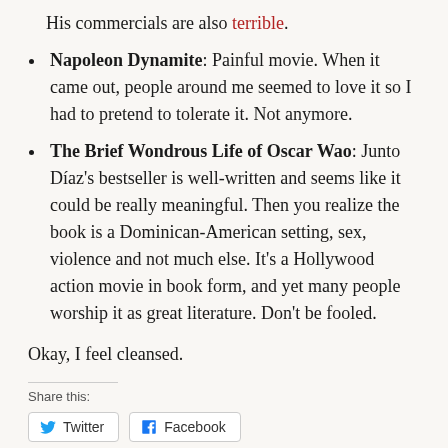His commercials are also terrible.
Napoleon Dynamite: Painful movie. When it came out, people around me seemed to love it so I had to pretend to tolerate it. Not anymore.
The Brief Wondrous Life of Oscar Wao: Junto Díaz's bestseller is well-written and seems like it could be really meaningful. Then you realize the book is a Dominican-American setting, sex, violence and not much else. It's a Hollywood action movie in book form, and yet many people worship it as great literature. Don't be fooled.
Okay, I feel cleansed.
Share this:
Twitter  Facebook